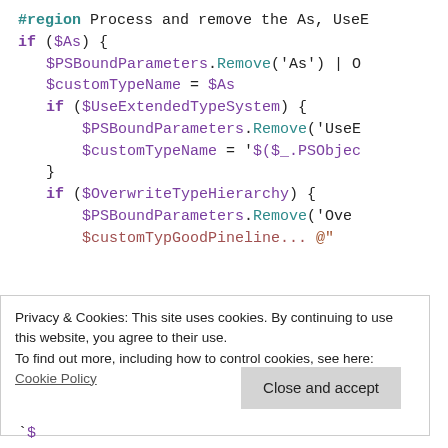#region Process and remove the As, UseE
if ($As) {
    $PSBoundParameters.Remove('As') | O
    $customTypeName = $As
    if ($UseExtendedTypeSystem) {
        $PSBoundParameters.Remove('UseE
        $customTypeName = '$($.PSobjec
    }
    if ($OverwriteTypeHierarchy) {
        $PSBoundParameters.Remove('Ove
        $customTypeN...
Privacy & Cookies: This site uses cookies. By continuing to use this website, you agree to their use.
To find out more, including how to control cookies, see here: Cookie Policy
`$